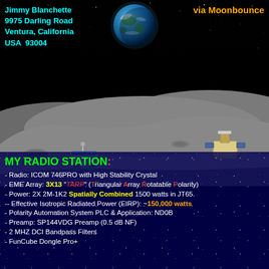[Figure (illustration): Moon surface landscape with Earth visible in black sky, a lunar rover on the left and a lander on the right, with craters and rocky terrain]
Jimmy Blanchette
9975 Darling Road
Ventura, California
USA  93004
via Moonbounce
MY RADIO STATION:
- Radio: ICOM 746PRO with High Stability Crystal
- EME Array: 3X13 "TARP" (Triangular Array Rotatable Polarity)
- Power: 2X 2M-1K2 Spatially Combined 1500 watts in JT65.
- Effective Isotropic Radiated Power (EIRP): ~150,000 watts
- Polarity Automation System PLC & Application: ND0B
- Preamp: SP144VDG Preamp (0.5 dB NF)
- 2 MHZ DCI Bandpass Filters
- FunCube Dongle Pro+